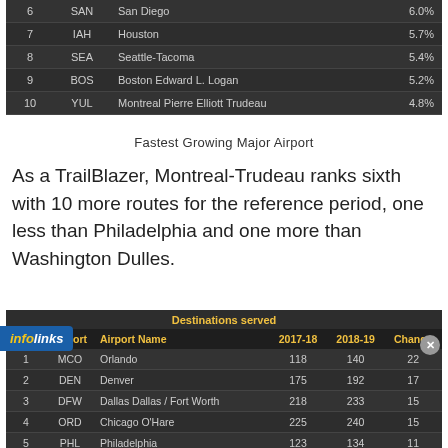|  | Airport | Airport Name |  |
| --- | --- | --- | --- |
| 6 | SAN | San Diego | 6.0% |
| 7 | IAH | Houston | 5.7% |
| 8 | SEA | Seattle-Tacoma | 5.4% |
| 9 | BOS | Boston Edward L. Logan | 5.2% |
| 10 | YUL | Montreal Pierre Elliott Trudeau | 4.8% |
Fastest Growing Major Airport
As a TrailBlazer, Montreal-Trudeau ranks sixth with 10 more routes for the reference period, one less than Philadelphia and one more than Washington Dulles.
| Destinations served |  |  |  |  |  |
| --- | --- | --- | --- | --- | --- |
| Rank | Airport | Airport Name | 2017-18 | 2018-19 | Change |
| 1 | MCO | Orlando | 118 | 140 | 22 |
| 2 | DEN | Denver | 175 | 192 | 17 |
| 3 | DFW | Dallas Dallas / Fort Worth | 218 | 233 | 15 |
| 4 | ORD | Chicago O'Hare | 225 | 240 | 15 |
| 5 | PHL | Philadelphia | 123 | 134 | 11 |
| 6 | YUL | Montreal Pierre Elliott Trudeau | 106 | 116 | 10 |